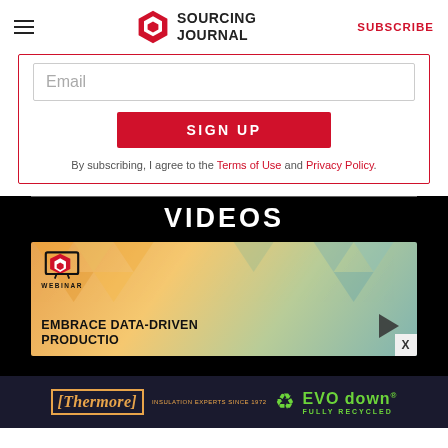Sourcing Journal — SUBSCRIBE
Email
SIGN UP
By subscribing, I agree to the Terms of Use and Privacy Policy.
VIDEOS
[Figure (screenshot): Webinar thumbnail with orange geometric background and text: EMBRACE DATA-DRIVEN PRODUCTION with a play button]
[Figure (logo): Thermore ad banner — Insulation Experts Since 1972 | EVO down fully recycled logo]